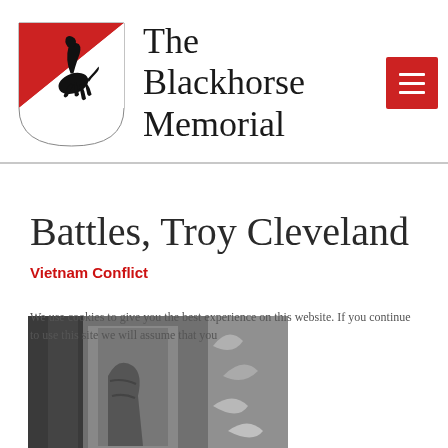[Figure (logo): The Blackhorse Memorial website header with shield logo (red and white shield with black rearing horse) and site title 'The Blackhorse Memorial', plus a red hamburger menu button]
Battles, Troy Cleveland
Vietnam Conflict
We use cookies to give you the best experience on this website. If you continue to use this site we will assume that you
[Figure (photo): Black and white photograph of a soldier, partially visible, with foliage in the background]